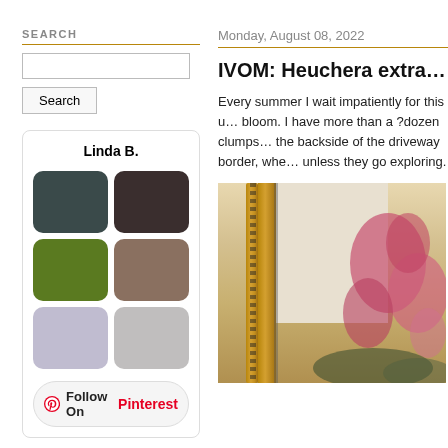SEARCH
Search
[Figure (infographic): Pinterest follow widget showing Linda B. with 6 color swatches (dark teal, dark brown/purple, olive green, taupe/brown, lavender, light gray) and a Follow On Pinterest button]
Monday, August 08, 2022
IVOM: Heuchera extravaganc...
Every summer I wait impatiently for this u... bloom. I have more than a ?dozen clumps... the backside of the driveway border, whe... unless they go exploring.
[Figure (photo): Photo of Heuchera plant with pink/red blooms next to a gold ornate picture frame, beige wall background]